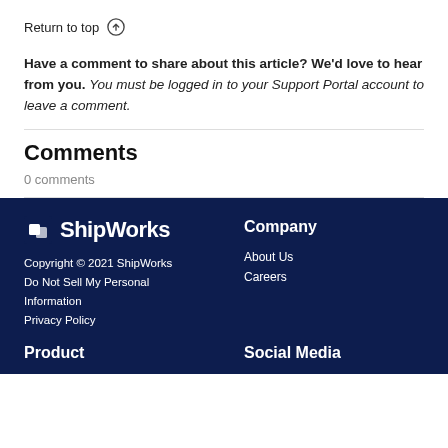Return to top ↑
Have a comment to share about this article? We'd love to hear from you. You must be logged in to your Support Portal account to leave a comment.
Comments
0 comments
ShipWorks | Copyright © 2021 ShipWorks | Do Not Sell My Personal Information | Privacy Policy | Company | About Us | Careers | Product | Social Media